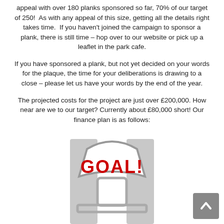appeal with over 180 planks sponsored so far, 70% of our target of 250!  As with any appeal of this size, getting all the details right takes time.  If you haven't joined the campaign to sponsor a plank, there is still time – hop over to our website or pick up a leaflet in the park cafe.
If you have sponsored a plank, but not yet decided on your words for the plaque, the time for your deliberations is drawing to a close – please let us have your words by the end of the year.
The projected costs for the project are just over £200,000. How near are we to our target? Currently about £80,000 short! Our finance plan is as follows:
[Figure (illustration): A goal scorer trophy / award graphic with the word GOAL! in bold red text on a curved stadium-scoreboard style banner, gray outline illustration, partially cropped at bottom]